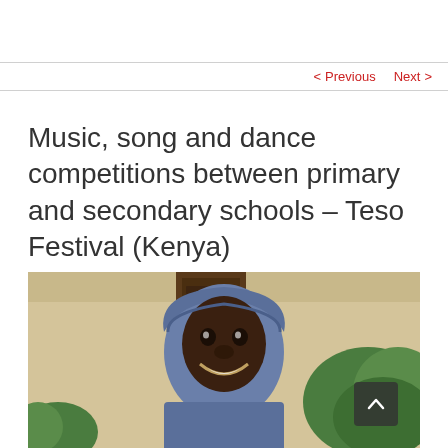< Previous   Next >
Music, song and dance competitions between primary and secondary schools – Teso Festival (Kenya)
[Figure (photo): Close-up photo of a smiling child wearing a blue hoodie, standing in front of a building with a door, with green foliage visible in the background. A scroll-to-top button with an upward chevron is overlaid in the bottom-right corner of the image.]